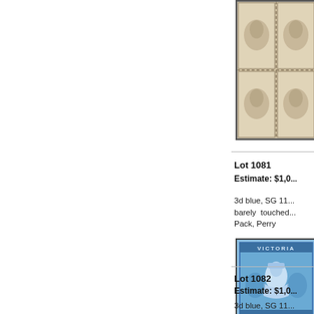[Figure (photo): Vintage postage stamps block in brownish/sepia color (top right, partially visible), showing Queen Victoria stamp design]
Lot 1081
Estimate: $1,0...
3d blue, SG 11... barely touched... Pack, Perry
[Figure (photo): Victoria 3 pence blue stamp showing Queen Victoria seated, labeled THREE PENCE at base]
Lot 1082
Estimate: $1,0...
3d blue, SG 11... at base, tied by... cover Melbour... Letter/Melbourn...